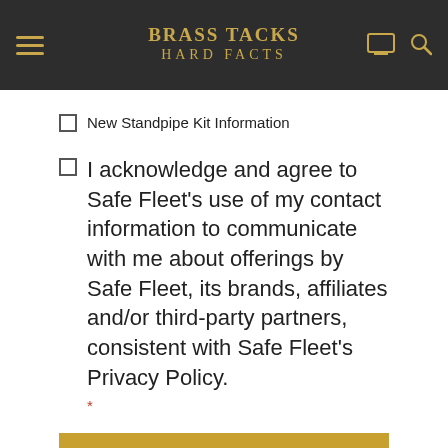Brass Tacks Hard Facts
New Standpipe Kit Information
I acknowledge and agree to Safe Fleet's use of my contact information to communicate with me about offerings by Safe Fleet, its brands, affiliates and/or third-party partners, consistent with Safe Fleet's Privacy Policy. *
SUBMIT